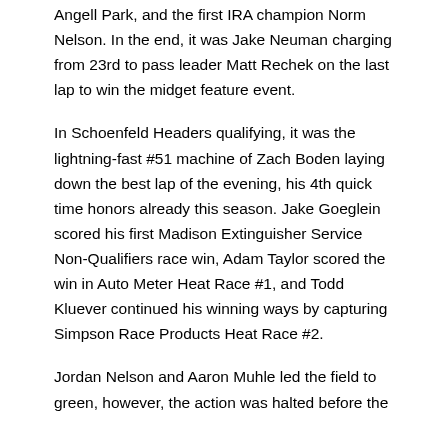Angell Park, and the first IRA champion Norm Nelson. In the end, it was Jake Neuman charging from 23rd to pass leader Matt Rechek on the last lap to win the midget feature event.
In Schoenfeld Headers qualifying, it was the lightning-fast #51 machine of Zach Boden laying down the best lap of the evening, his 4th quick time honors already this season. Jake Goeglein scored his first Madison Extinguisher Service Non-Qualifiers race win, Adam Taylor scored the win in Auto Meter Heat Race #1, and Todd Kluever continued his winning ways by capturing Simpson Race Products Heat Race #2.
Jordan Nelson and Aaron Muhle led the field to green, however, the action was halted before the